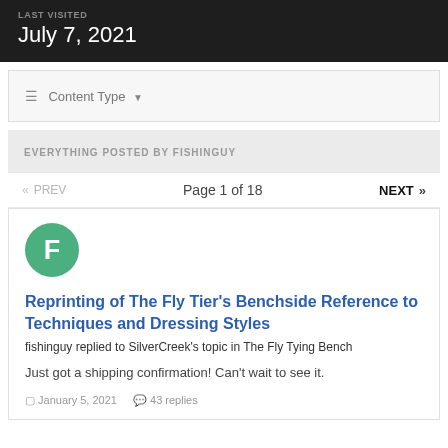LAST VISITED
July 7, 2021
≡ Content Type ▼
EVERYTHING POSTED BY FISHINGUY
«  PREV    Page 1 of 18    NEXT  »
[Figure (illustration): Green circular avatar with white letter F]
Reprinting of The Fly Tier's Benchside Reference to Techniques and Dressing Styles
fishinguy replied to SilverCreek's topic in The Fly Tying Bench
Just got a shipping confirmation! Can't wait to see it.
January 5, 2021   43 replies